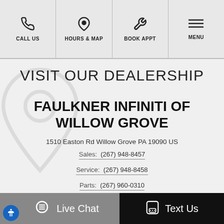CALL US | HOURS & MAP | BOOK APPT | MENU
VISIT OUR DEALERSHIP
FAULKNER INFINITI OF WILLOW GROVE
1510 Easton Rd Willow Grove PA 19090 US
Sales:  (267) 948-8457
Service:  (267) 948-8458
Parts:  (267) 960-0310
Live Chat | Text Us